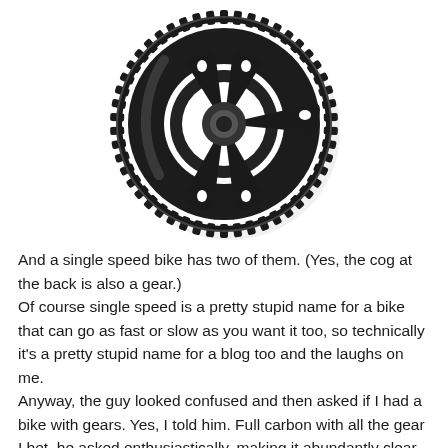[Figure (photo): A black bicycle chainring (gear) photographed against a white background, showing the toothed outer ring and mounting holes.]
And a single speed bike has two of them. (Yes, the cog at the back is also a gear.) Of course single speed is a pretty stupid name for a bike that can go as fast or slow as you want it too, so technically it's a pretty stupid name for a blog too and the laughs on me. Anyway, the guy looked confused and then asked if I had a bike with gears. Yes, I told him. Full carbon with all the gear I bet, he asked enthusiastically, making it abundantly clear that we were having two separate conversations. I own a Reid Falco I last rode it in Feb. Lovely bike but if I'm heading out on a bike with gears at this time of